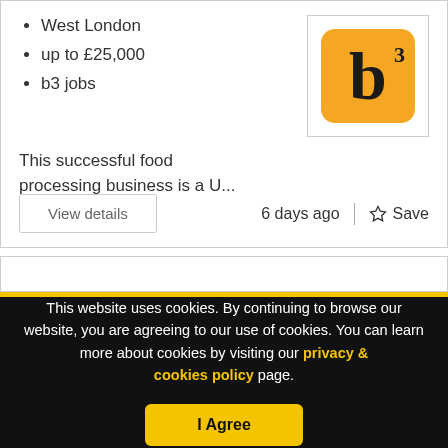West London
up to £25,000
b3 jobs
[Figure (logo): b3 jobs logo: orange rounded square with bold letter 'b' and superscript '3']
This successful food processing business is a U...
View details
6 days ago
☆ Save
This website uses cookies. By continuing to browse our website, you are agreeing to our use of cookies. You can learn more about cookies by visiting our privacy & cookies policy page.
I Agree